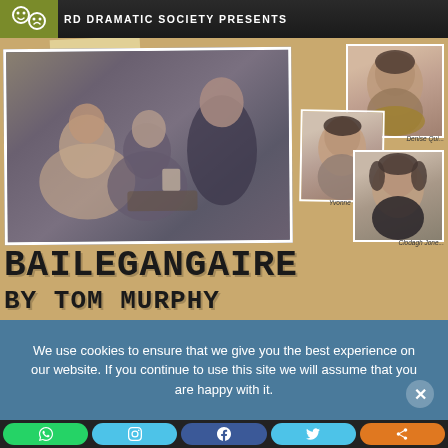[Figure (photo): Theatrical production poster for 'Bailegangaire by Tom Murphy' presented by a Dramatic Society. Shows a group photo of cast members in a period setting, plus three portrait photos of actresses (Denise Qui..., Yvonne Cummins, Clodagh Jones). Dark header bar with society logo and text 'RD DRAMATIC SOCIETY PRESENTS'. Title 'BAILEGANGAIRE' and 'BY TOM MURPHY' in large stamped font on parchment background.]
We use cookies to ensure that we give you the best experience on our website. If you continue to use this site we will assume that you are happy with it.
[Figure (infographic): Row of social media share buttons: WhatsApp (green), Instagram (light blue), Facebook (dark blue), Twitter (light blue), Share (orange).]